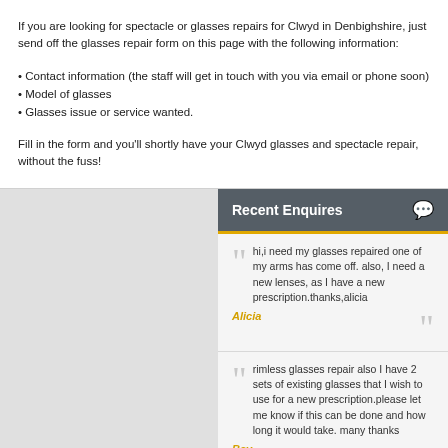If you are looking for spectacle or glasses repairs for Clwyd in Denbighshire, just send off the glasses repair form on this page with the following information:
Contact information (the staff will get in touch with you via email or phone soon)
Model of glasses
Glasses issue or service wanted.
Fill in the form and you'll shortly have your Clwyd glasses and spectacle repair, without the fuss!
Recent Enquires
hi,i need my glasses repaired one of my arms has come off. also, I need a new lenses, as I have a new prescription.thanks,alicia
Alicia
rimless glasses repair also I have 2 sets of existing glasses that I wish to use for a new prescription.please let me know if this can be done and how long it would take. many thanks
Bev